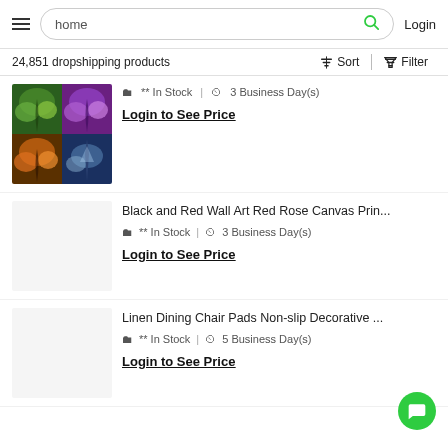home | Login
24,851 dropshipping products
[Figure (screenshot): Grid of 4 nature/tree photos (colorful tree canopy images)]
** In Stock   3 Business Day(s)
Login to See Price
Black and Red Wall Art Red Rose Canvas Prin...
** In Stock   3 Business Day(s)
Login to See Price
Linen Dining Chair Pads Non-slip Decorative ...
** In Stock   5 Business Day(s)
Login to See Price